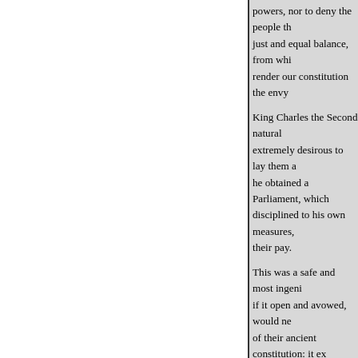powers, nor to deny the people the just and equal balance, from which render our constitution the envy
King Charles the Second naturally extremely desirous to lay them aside, he obtained a Parliament, which disciplined to his own measures, their pay.
This was a safe and most ingenious if it open and avowed, would never of their ancient constitution: it ex- reality in it; for the power, the
authority, the dignity, of Parliament obtained the opprobrious name of later Parliaments have been exact-
At the time of the Revolution, so lately experienced the misfort- be held frequently. But it seems, as in every new settlement the in- never ceased struggling with the full and strong; and in the body of